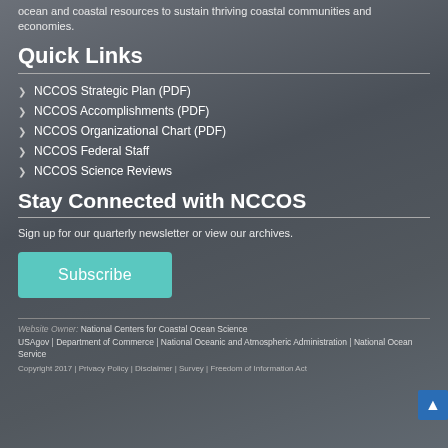ocean and coastal resources to sustain thriving coastal communities and economies.
Quick Links
NCCOS Strategic Plan (PDF)
NCCOS Accomplishments (PDF)
NCCOS Organizational Chart (PDF)
NCCOS Federal Staff
NCCOS Science Reviews
Stay Connected with NCCOS
Sign up for our quarterly newsletter or view our archives.
Subscribe
Website Owner: National Centers for Coastal Ocean Science USAgov | Department of Commerce | National Oceanic and Atmospheric Administration | National Ocean Service Copyright 2017 | Privacy Policy | Disclaimer | Survey | Freedom of Information Act